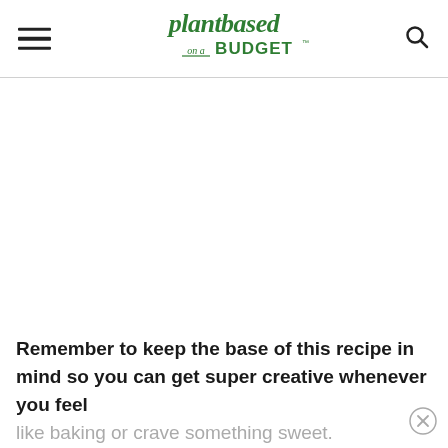plantbased on a BUDGET
[Figure (illustration): Large white/blank image area below the header, representing an embedded image or advertisement space]
Remember to keep the base of this recipe in mind so you can get super creative whenever you feel like baking or crave something sweet.